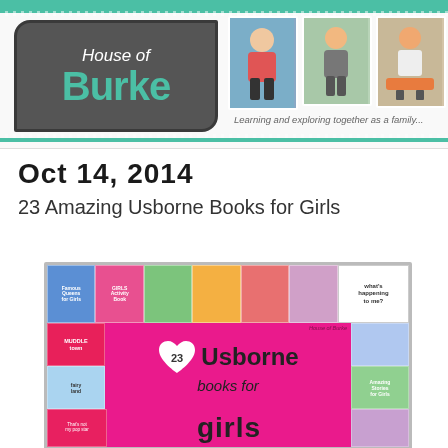House of Burke — Learning and exploring together as a family.
Oct 14, 2014
23 Amazing Usborne Books for Girls
[Figure (photo): Collage image titled '23 Usborne books for girls' with pink background showing multiple colorful children's book covers]